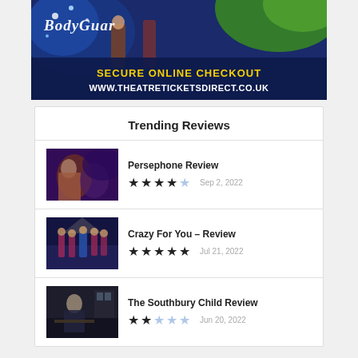[Figure (illustration): Advertisement banner for Theatre Tickets Direct showing BodyGuard and other shows with text 'SECURE ONLINE CHECKOUT' and 'WWW.THEATRETICKETSDIRECT.CO.UK']
Trending Reviews
[Figure (photo): Scene from Persephone stage show]
Persephone Review ★★★★☆ Sep 2, 2022
[Figure (photo): Scene from Crazy For You stage show]
Crazy For You – Review ★★★★★ Jul 21, 2022
[Figure (photo): Scene from The Southbury Child stage show]
The Southbury Child Review ★★☆☆☆ Jun 20, 2022